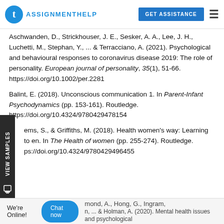TAssignmentHelp — GET ASSISTANCE
Aschwanden, D., Strickhouser, J. E., Sesker, A. A., Lee, J. H., Luchetti, M., Stephan, Y., ... & Terracciano, A. (2021). Psychological and behavioural responses to coronavirus disease 2019: The role of personality. European journal of personality, 35(1), 51-66. https://doi.org/10.1002/per.2281
Balint, E. (2018). Unconscious communication 1. In Parent-Infant Psychodynamics (pp. 153-161). Routledge. https://doi.org/10.4324/9780429478154
ems, S., & Griffiths, M. (2018). Health women's way: Learning to en. In The Health of women (pp. 255-274). Routledge. https://doi.org/10.4324/9780429496455
mond, A., Hong, G., Ingram, n, ... & Holman, A. (2020). Mental health issues and psychological